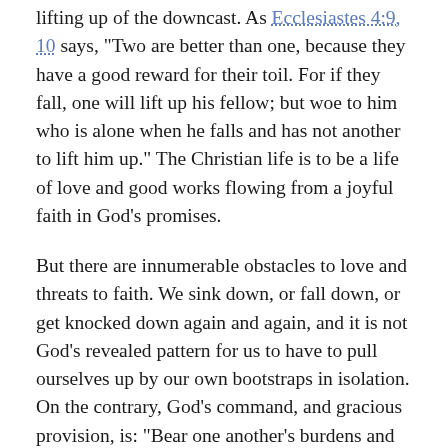lifting up of the downcast. As Ecclesiastes 4:9, 10 says, "Two are better than one, because they have a good reward for their toil. For if they fall, one will lift up his fellow; but woe to him who is alone when he falls and has not another to lift him up." The Christian life is to be a life of love and good works flowing from a joyful faith in God's promises.
But there are innumerable obstacles to love and threats to faith. We sink down, or fall down, or get knocked down again and again, and it is not God's revealed pattern for us to have to pull ourselves up by our own bootstraps in isolation. On the contrary, God's command, and gracious provision, is: "Bear one another's burdens and so fulfill the